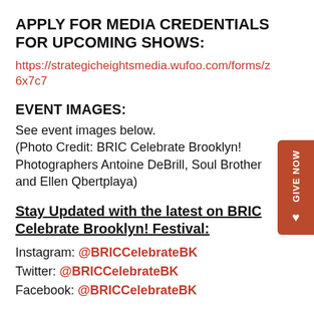APPLY FOR MEDIA CREDENTIALS FOR UPCOMING SHOWS:
https://strategicheightsmedia.wufoo.com/forms/z6x7c7
EVENT IMAGES:
See event images below.
(Photo Credit: BRIC Celebrate Brooklyn! Photographers Antoine DeBrill, Soul Brother and Ellen Qbertplaya)
Stay Updated with the latest on BRIC Celebrate Brooklyn! Festival:
Instagram: @BRICCelebrateBK
Twitter: @BRICCelebrateBK
Facebook: @BRICCelebrateBK